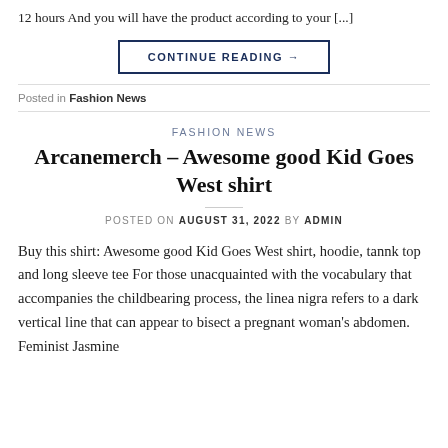12 hours And you will have the product according to your [...]
CONTINUE READING →
Posted in Fashion News
FASHION NEWS
Arcanemerch – Awesome good Kid Goes West shirt
POSTED ON AUGUST 31, 2022 BY ADMIN
Buy this shirt: Awesome good Kid Goes West shirt, hoodie, tannk top and long sleeve tee For those unacquainted with the vocabulary that accompanies the childbearing process, the linea nigra refers to a dark vertical line that can appear to bisect a pregnant woman's abdomen. Feminist Jasmine